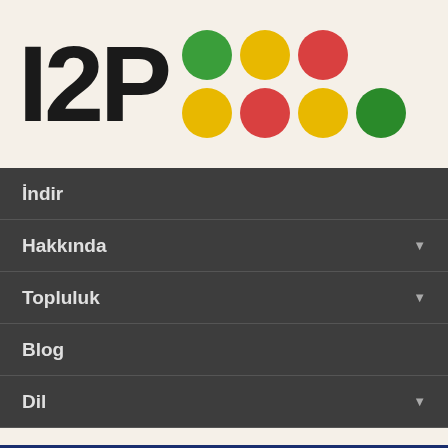[Figure (logo): I2P logo with large bold text 'I2P' and a 2x3 grid of colored circles (green, yellow, red, yellow, red, yellow, green) on a cream background]
İndir
Hakkında ▼
Topluluk ▼
Blog
Dil ▼
I2P Geliştirme Toplantısı 303